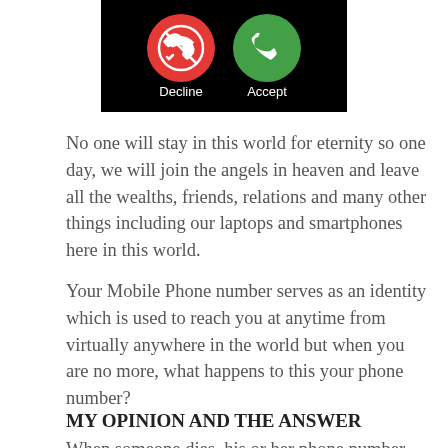[Figure (screenshot): Phone call screen showing a red Decline button and a green Accept button on a black background]
No one will stay in this world for eternity so one day, we will join the angels in heaven and leave all the wealths, friends, relations and many other things including our laptops and smartphones here in this world.
Your Mobile Phone number serves as an identity which is used to reach you at anytime from virtually anywhere in the world but when you are no more, what happens to this your phone number?
MY OPINION AND THE ANSWER
When someone dies, his or her phone number